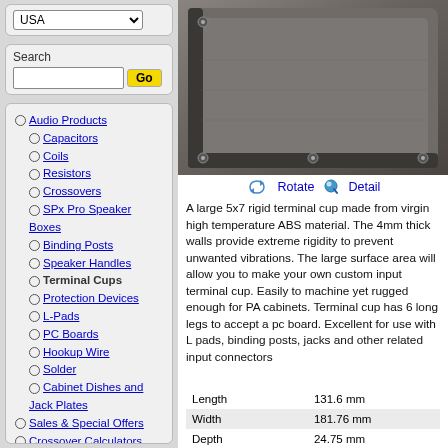USA (dropdown)
Search
Audio Products
Capacitors
Coils
Resistors
Crossovers
SPx Pro Speaker Boxes
Binding Posts
Speaker Handles
Terminal Cups
Protection Devices
L-Pads
PC Boards
Hookup Wire
Solder
Cabinet Dishes and Jack Plates
Sales & Special Offers
Crossover Calculators
Audio Tech Center
[Figure (photo): Close-up photo of a large 5x7 rigid terminal cup made from ABS material, showing the dark gray panel with mounting holes at corners]
Rotate  Detail
A large 5x7 rigid terminal cup made from virgin high temperature ABS material. The 4mm thick walls provide extreme rigidity to prevent unwanted vibrations. The large surface area will allow you to make your own custom input terminal cup. Easily to machine yet rugged enough for PA cabinets. Terminal cup has 6 long legs to accept a pc board. Excellent for use with L pads, binding posts, jacks and other related input connectors
| Specifications |  |
| --- | --- |
| Length | 131.6 mm |
| Width | 181.76 mm |
| Depth | 24.75 mm |
| Cut Out Hole Size | 150mm x 100mm |
| Gasket Included | No |
| Screw Hole Size | 4.3 mm |